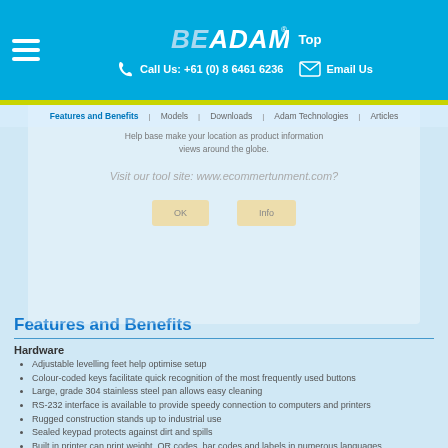BE ADAM — Call Us: +61 (0) 8 6461 6236 | Email Us | Top
Features and Benefits | Models | Downloads | Adam Technologies | Articles
Help base make your location as product information views around the globe.
Visit our tool site: www.ecommertunment.com?
Features and Benefits
Hardware
Adjustable levelling feet help optimise setup
Colour-coded keys facilitate quick recognition of the most frequently used buttons
Large, grade 304 stainless steel pan allows easy cleaning
RS-232 interface is available to provide speedy connection to computers and printers
Rugged construction stands up to industrial use
Sealed keypad protects against dirt and spills
Built in printer can print weight, QR codes, bar codes and labels in numerous languages
Software